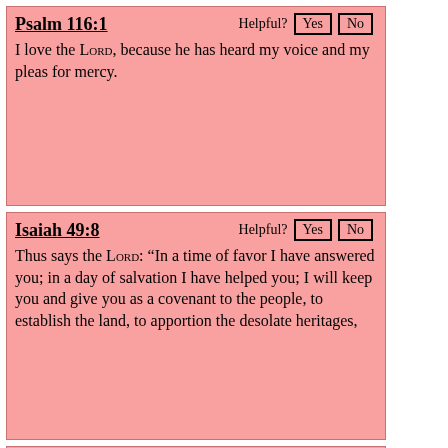Psalm 116:1
I love the Lord, because he has heard my voice and my pleas for mercy.
Isaiah 49:8
Thus says the Lord: “In a time of favor I have answered you; in a day of salvation I have helped you; I will keep you and give you as a covenant to the people, to establish the land, to apportion the desolate heritages,
Psalm 118:14